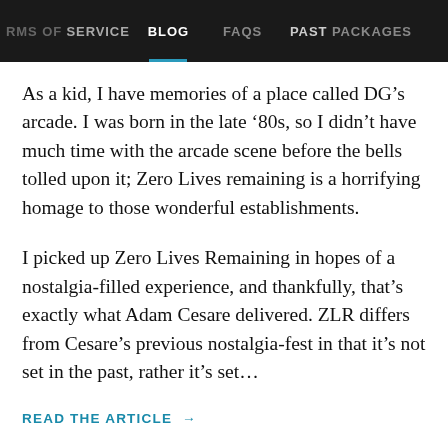RMS OF SERVICE   BLOG   FAQs   PAST PACKAGES
As a kid, I have memories of a place called DG’s arcade. I was born in the late ‘80s, so I didn’t have much time with the arcade scene before the bells tolled upon it; Zero Lives remaining is a horrifying homage to those wonderful establishments.
I picked up Zero Lives Remaining in hopes of a nostalgia-filled experience, and thankfully, that’s exactly what Adam Cesare delivered. ZLR differs from Cesare’s previous nostalgia-fest in that it’s not set in the past, rather it’s set...
READ THE ARTICLE →